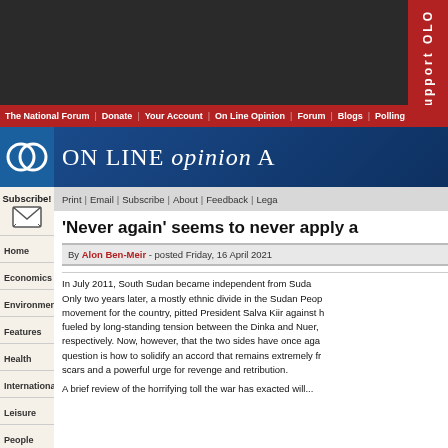ON LINE opinion
The National Forum | Donate | Your Account | On Line Opinion | Forum | Blogs | Polling
Print | Email | Subscribe | About | Feedback | Legal
Subscribe!
Home
Economics
Environment
Features
Health
International
Leisure
People
Politics
Technology
'Never again' seems to never apply a...
By Alon Ben-Meir - posted Friday, 16 April 2021
In July 2011, South Sudan became independent from Sudan. Only two years later, a mostly ethnic divide in the Sudan People's movement for the country, pitted President Salva Kiir against his fueled by long-standing tension between the Dinka and Nuer, respectively. Now, however, that the two sides have once again... question is how to solidify an accord that remains extremely fr... scars and a powerful urge for revenge and retribution. A brief review of the horrifying toll the war has exacted will...